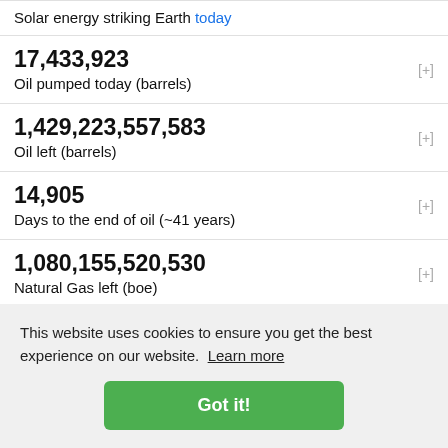Solar energy striking Earth today
17,433,923
Oil pumped today (barrels)
1,429,223,557,583
Oil left (barrels)
14,905
Days to the end of oil (~41 years)
1,080,155,520,530
Natural Gas left (boe)
56,850
Days to the end of natural gas
4,292,528,431,355
Coal left (boe)
This website uses cookies to ensure you get the best experience on our website. Learn more
Got it!